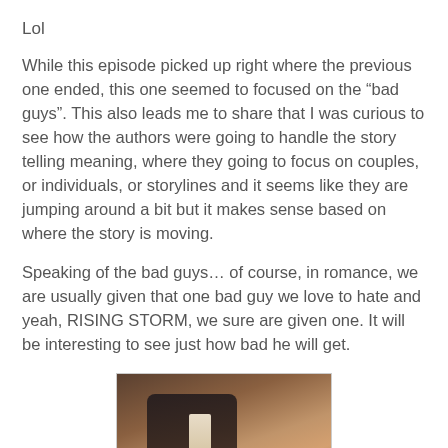Lol
While this episode picked up right where the previous one ended, this one seemed to focused on the “bad guys”. This also leads me to share that I was curious to see how the authors were going to handle the story telling meaning, where they going to focus on couples, or individuals, or storylines and it seems like they are jumping around a bit but it makes sense based on where the story is moving.
Speaking of the bad guys… of course, in romance, we are usually given that one bad guy we love to hate and yeah, RISING STORM, we sure are given one. It will be interesting to see just how bad he will get.
[Figure (photo): A man in a dark suit with a striped tie seated at what appears to be a restaurant table, with a woman's hand visible on his shoulder and a wine glass nearby. The image has a dark, moody tone with warm amber/brown coloring.]